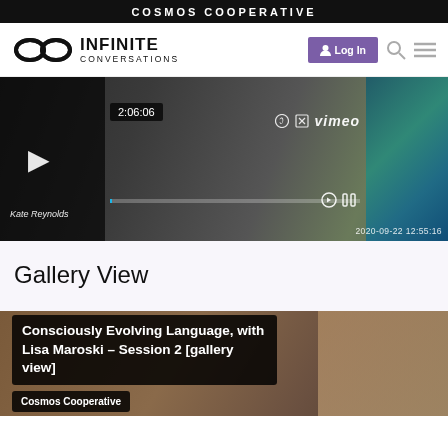COSMOS COOPERATIVE
[Figure (screenshot): Infinite Conversations website navigation bar with logo (infinity symbol + 'INFINITE CONVERSATIONS'), purple Log In button, search icon, and menu icon]
[Figure (screenshot): Vimeo video player showing a video paused at 2:06:06, with speaker name 'Kate Reynolds' and timestamp 2020-09-22 12:55:16]
Gallery View
[Figure (screenshot): Bottom of page showing a video card with title 'Consciously Evolving Language, with Lisa Maroski – Session 2 [gallery view]' and channel label 'Cosmos Cooperative']
Consciously Evolving Language, with Lisa Maroski – Session 2 [gallery view]
Cosmos Cooperative